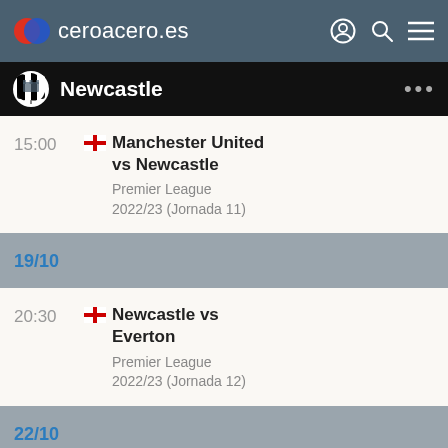ceroacero.es
Newcastle
15:00 Manchester United vs Newcastle
Premier League
2022/23 (Jornada 11)
19/10
20:30 Newcastle vs Everton
Premier League
2022/23 (Jornada 12)
22/10
18:30 Tottenham vs Newcastle
Premier League
2022/23 (Jornada 13)